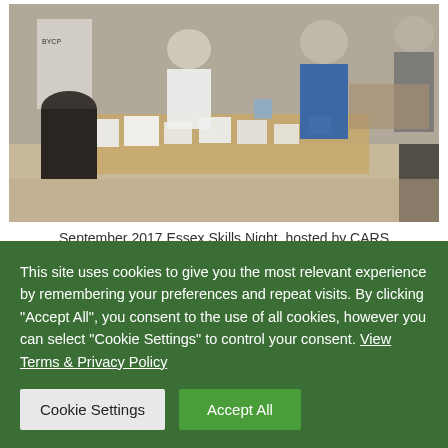[Figure (photo): Indoor event scene showing people gathered around a table with documents and items on it. Several attendees visible, with banners and signage in the background.]
September 2017 Essex Skills Night, hosted by CARS
On the Essex Ham table, a scrolling video of the group's recent GB4EAA event in support of the Essex Air Ambulance.  During the event at Earl's Colne Airfield,
This site uses cookies to give you the most relevant experience by remembering your preferences and repeat visits. By clicking "Accept All", you consent to the use of all cookies, however you can select "Cookie Settings" to control your consent. View Terms & Privacy Policy